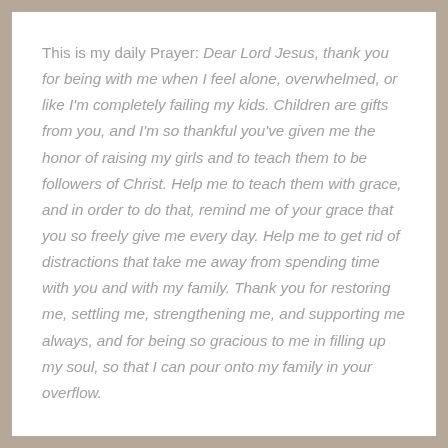This is my daily Prayer: Dear Lord Jesus, thank you for being with me when I feel alone, overwhelmed, or like I'm completely failing my kids. Children are gifts from you, and I'm so thankful you've given me the honor of raising my girls and to teach them to be followers of Christ. Help me to teach them with grace, and in order to do that, remind me of your grace that you so freely give me every day. Help me to get rid of distractions that take me away from spending time with you and with my family. Thank you for restoring me, settling me, strengthening me, and supporting me always, and for being so gracious to me in filling up my soul, so that I can pour onto my family in your overflow.